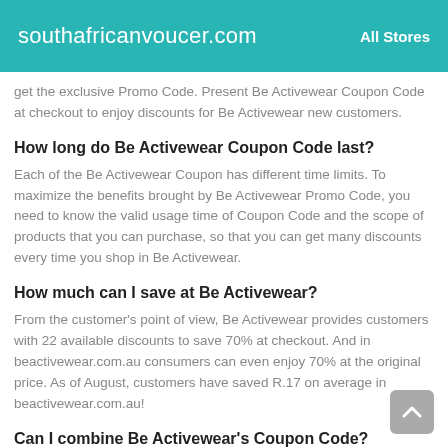southafricanvoucer.com   All Stores
get the exclusive Promo Code. Present Be Activewear Coupon Code at checkout to enjoy discounts for Be Activewear new customers.
How long do Be Activewear Coupon Code last?
Each of the Be Activewear Coupon has different time limits. To maximize the benefits brought by Be Activewear Promo Code, you need to know the valid usage time of Coupon Code and the scope of products that you can purchase, so that you can get many discounts every time you shop in Be Activewear.
How much can I save at Be Activewear?
From the customer's point of view, Be Activewear provides customers with 22 available discounts to save 70% at checkout. And in beactivewear.com.au consumers can even enjoy 70% at the original price. As of August, customers have saved R.17 on average in beactivewear.com.au!
Can I combine Be Activewear's Coupon Code?
No. Overlaying Be Activewear Promo Code is not allowed. You can only select Be Activewear Coupon Code with the highest discount within the applicable scope of your order to make